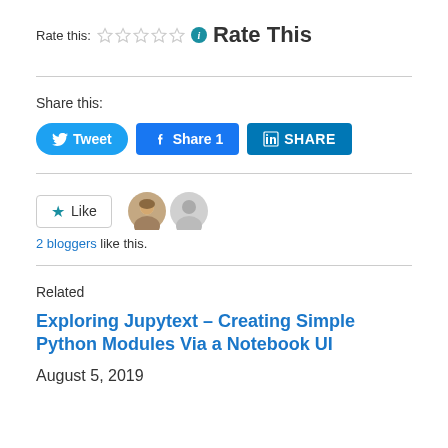Rate this: ☆☆☆☆☆ ℹ Rate This
Share this:
[Figure (screenshot): Social share buttons: Tweet (Twitter), Share 1 (Facebook), SHARE (LinkedIn)]
[Figure (screenshot): Like button with star icon, two blogger avatars. 2 bloggers like this.]
2 bloggers like this.
Related
Exploring Jupytext – Creating Simple Python Modules Via a Notebook UI
August 5, 2019